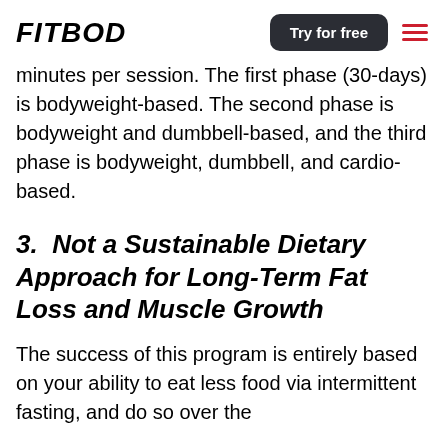FITBOD | Try for free
minutes per session. The first phase (30-days) is bodyweight-based. The second phase is bodyweight and dumbbell-based, and the third phase is bodyweight, dumbbell, and cardio-based.
3.  Not a Sustainable Dietary Approach for Long-Term Fat Loss and Muscle Growth
The success of this program is entirely based on your ability to eat less food via intermittent fasting, and do so over the